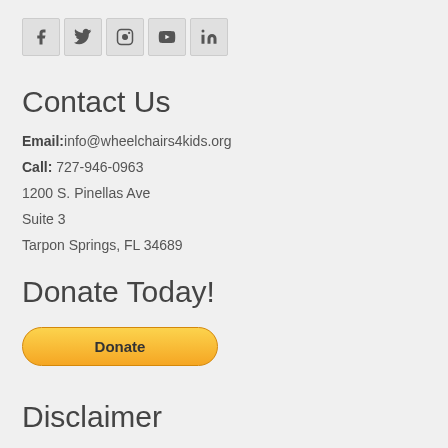[Figure (infographic): Row of social media icons: Facebook, Twitter, Instagram, YouTube, LinkedIn]
Contact Us
Email: info@wheelchairs4kids.org
Call: 727-946-0963
1200 S. Pinellas Ave
Suite 3
Tarpon Springs, FL 34689
Donate Today!
[Figure (other): Yellow PayPal Donate button]
Disclaimer